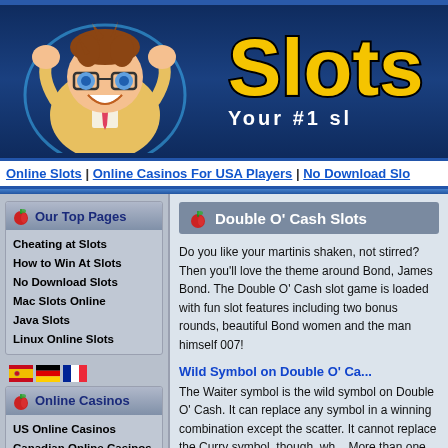[Figure (screenshot): Website header banner with cartoon mascot character (man with glasses and suit) and 'Slots' logo text in yellow with tagline 'Your #1 sl...' on dark blue background]
Online Slots | Online Casinos For USA Players | No Download Slo...
Our Top Pages
Cheating at Slots
How to Win At Slots
No Download Slots
Mac Slots Online
Java Slots
Linux Online Slots
Online Casinos
US Online Casinos
Canadian Online Casinos
UK Casinos Online
Double O' Cash Slots
Do you like your martinis shaken, not stirred? Then you'll love the theme around Bond, James Bond. The Double O' Cash slot game is loaded with fun slot features including two bonus rounds, beautiful Bond women and the man himself 007!
Wild Symbol on Double O' Ca...
The Waiter symbol is the wild symbol on Double O' Cash. It can replace any symbol in a winning combination except the scatter. It cannot replace the Curry symbol, though, wh... More than one Waiter symbol is a win...